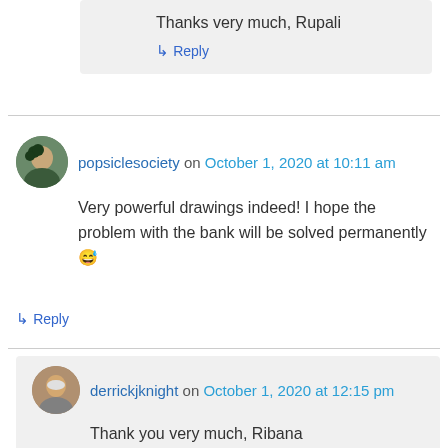Thanks very much, Rupali
↳ Reply
popsiclesociety on October 1, 2020 at 10:11 am
Very powerful drawings indeed! I hope the problem with the bank will be solved permanently 😅
↳ Reply
derrickjknight on October 1, 2020 at 12:15 pm
Thank you very much, Ribana
↳ Reply